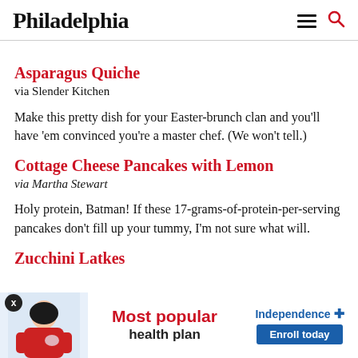Philadelphia
Asparagus Quiche
via Slender Kitchen
Make this pretty dish for your Easter-brunch clan and you’ll have ‘em convinced you’re a master chef. (We won’t tell.)
Cottage Cheese Pancakes with Lemon
via Martha Stewart
Holy protein, Batman! If these 17-grams-of-protein-per-serving pancakes don’t fill up your tummy, I’m not sure what will.
Zucchini Latkes
[Figure (other): Advertisement banner: Most popular health plan, Independence Plus, Enroll today]